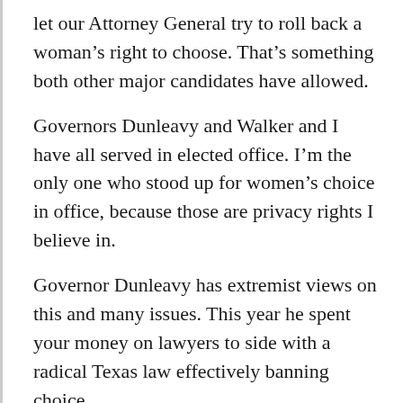let our Attorney General try to roll back a woman's right to choose. That's something both other major candidates have allowed.
Governors Dunleavy and Walker and I have all served in elected office. I'm the only one who stood up for women's choice in office, because those are privacy rights I believe in.
Governor Dunleavy has extremist views on this and many issues. This year he spent your money on lawyers to side with a radical Texas law effectively banning choice.
Governor Walker is hardly an extremist. But he's made decisions based on his proclaimed and deeply held “pro-life” values. Those values let him allow his Attorney General to sue to try to roll back a woman's right to choose when Governor.